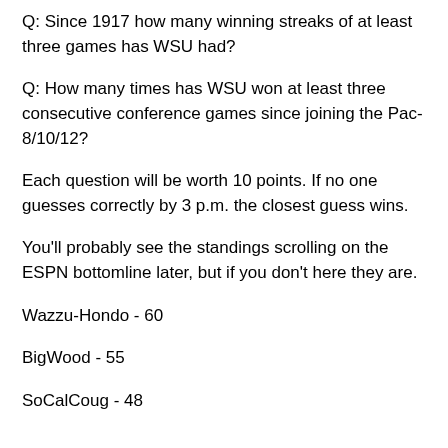Q: Since 1917 how many winning streaks of at least three games has WSU had?
Q: How many times has WSU won at least three consecutive conference games since joining the Pac-8/10/12?
Each question will be worth 10 points. If no one guesses correctly by 3 p.m. the closest guess wins.
You'll probably see the standings scrolling on the ESPN bottomline later, but if you don't here they are.
Wazzu-Hondo - 60
BigWood - 55
SoCalCoug - 48